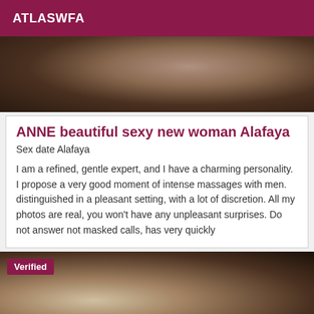ATLASWFA
[Figure (photo): Close-up photo of a person, partially cropped, dark tones]
ANNE beautiful sexy new woman Alafaya
Sex date Alafaya
I am a refined, gentle expert, and I have a charming personality. I propose a very good moment of intense massages with men. distinguished in a pleasant setting, with a lot of discretion. All my photos are real, you won't have any unpleasant surprises. Do not answer not masked calls, has very quickly
[Figure (photo): Photo with Verified badge, showing hands on a light surface]